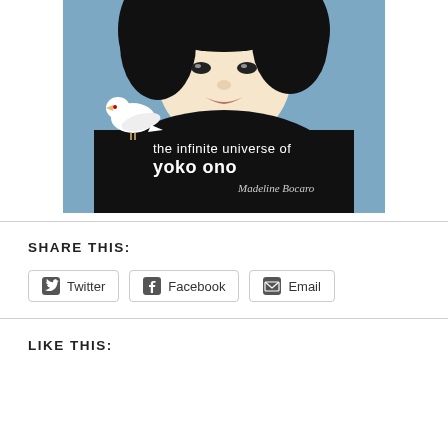[Figure (illustration): Book cover illustration of 'the infinite universe of yoko ono' by Madeline Bocaro. Shows a cartoon-style portrait of a woman with black hair, a white dove on her shoulder, against a blue background. Text on black clothing reads: 'the infinite universe of yoko ono' and 'Madeline Bocaro'.]
SHARE THIS:
Twitter | Facebook | Email
LIKE THIS: